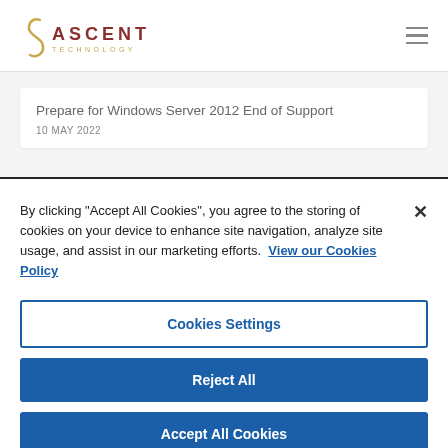[Figure (logo): Ascent Technology logo with stylized 'S' swoosh in gold and text 'ASCENT' in dark red with 'TECHNOLOGY' below in gold]
Prepare for Windows Server 2012 End of Support
10 MAY 2022
By clicking "Accept All Cookies", you agree to the storing of cookies on your device to enhance site navigation, analyze site usage, and assist in our marketing efforts.  View our Cookies Policy